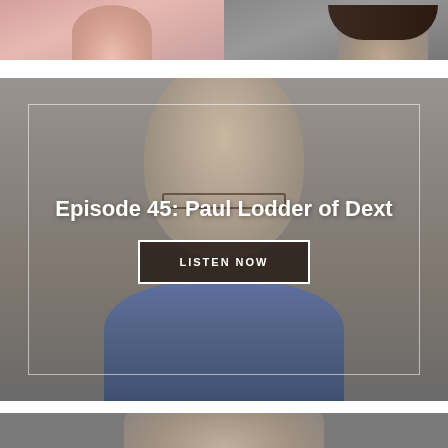[Figure (photo): Top portion showing two cropped portrait images side by side - left one with pinkish background, right one with dark hair on grey background]
[Figure (photo): Middle card with portrait photo of a man with glasses (Paul Lodder) on grey background, with inner border frame, episode title text overlay and LISTEN NOW button]
Episode 45: Paul Lodder of Dext
LISTEN NOW
[Figure (photo): Bottom partial portrait photo cropped at bottom edge showing top of person's head with dark hair]